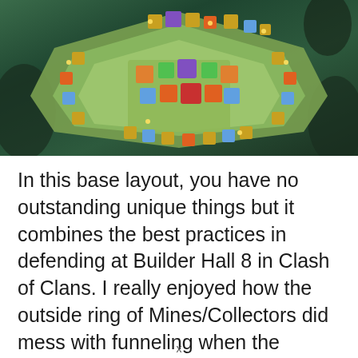[Figure (screenshot): Screenshot of a Clash of Clans Builder Hall 8 base layout viewed from above, showing a strategic arrangement of buildings, defenses, mines, and collectors on a green terrain map.]
In this base layout, you have no outstanding unique things but it combines the best practices in defending at Builder Hall 8 in Clash of Clans. I really enjoyed how the outside ring of Mines/Collectors did mess with funneling when the attacker attacks from the bottom or top side of the base (and normally that's the side for ground attacks) and did miss creating a proper funnel for the troops first.
The inside area is full defense stuffed with the